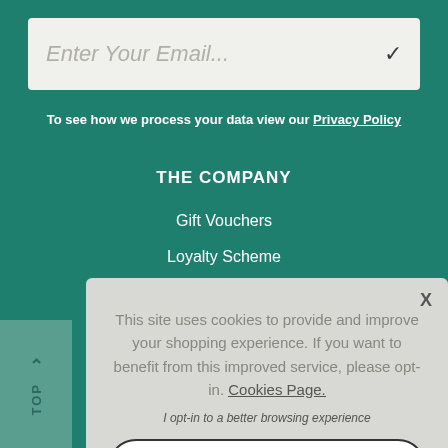[Figure (screenshot): Email input field with placeholder text 'Enter Your Email...' and a checkmark icon on the right, on a light beige background]
To see how we process your data view our Privacy Policy
THE COMPANY
Gift Vouchers
Loyalty Scheme
[Figure (screenshot): Cookie consent popup overlay with close X button, message about cookies, opt-in text, and ACCEPT COOKIES button]
This site uses cookies to provide and improve your shopping experience. If you want to benefit from this improved service, please opt-in. Cookies Page.
I opt-in to a better browsing experience
ACCEPT COOKIES